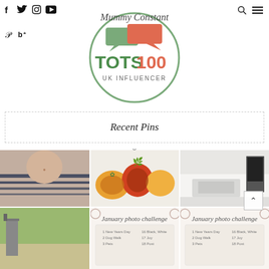Social media icons: Facebook, Twitter, Instagram, YouTube (top row); Pinterest, Bloglovin (side)
[Figure (logo): Mummy Constant blog logo with TOTS100 UK Influencer badge — circular green border, handwritten 'Mummy Constant' script, green speech bubble and red/salmon speech bubble graphic, bold text 'TOTS100' in green and red, 'UK INFLUENCER' subtitle]
Recent Pins
[Figure (photo): Close-up of a woman wearing a striped navy and white top with a small pendant necklace]
[Figure (photo): Overhead shot of stuffed bell peppers with corn, cheese and cilantro in a white baking dish]
[Figure (photo): Modern white kitchen interior with island and stainless steel appliances]
[Figure (photo): Outdoor patio or garden area]
[Figure (photo): January photo challenge graphic with handwritten script title and calendar grid]
[Figure (photo): January photo challenge graphic (duplicate/variant)]